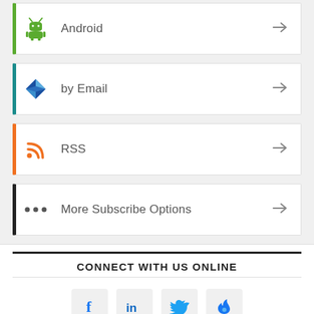Android
by Email
RSS
More Subscribe Options
CONNECT WITH US ONLINE
[Figure (other): Social media icon buttons: Facebook (f), LinkedIn (in), Twitter (bird), and a flame/fire icon, all in blue on light grey rounded square backgrounds.]